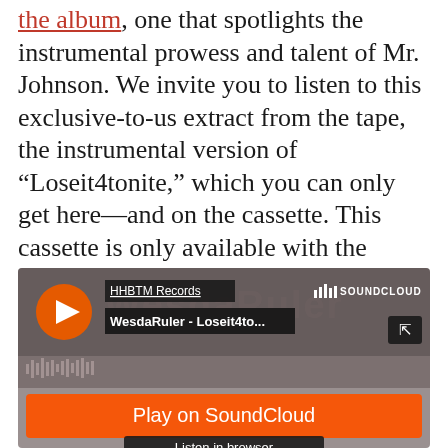the album, one that spotlights the instrumental prowess and talent of Mr. Johnson. We invite you to listen to this exclusive-to-us extract from the tape, the instrumental version of “Loseit4tonite,” which you can only get here—and on the cassette. This cassette is only available with the preorder, and it’s going fast.
[Figure (screenshot): SoundCloud embedded player widget showing HHBTM Records / WesdaRuler - Loseit4to... with play button, SoundCloud logo, orange 'Play on SoundCloud' button, and 'Listen in browser' button]